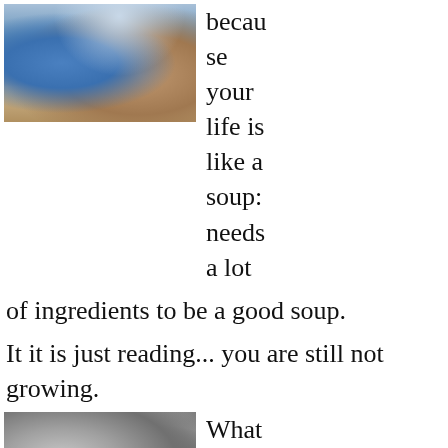[Figure (photo): Person holding a camera/phone, wearing bracelets, in outdoor setting with blue lighting]
because your life is like a soup: needs a lot of ingredients to be a good soup.
It it is just reading... you are still not growing.
[Figure (photo): Black and white close-up photo of hands, appears to be holding something leather]
Whatever it will be, consis